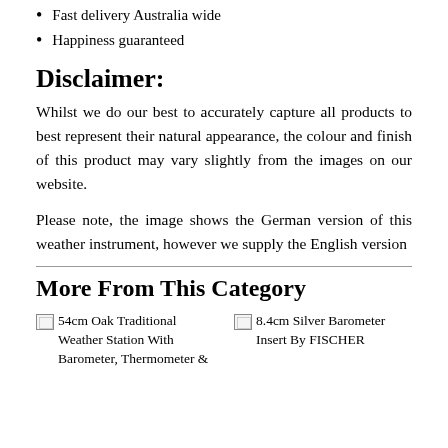Fast delivery Australia wide
Happiness guaranteed
Disclaimer:
Whilst we do our best to accurately capture all products to best represent their natural appearance, the colour and finish of this product may vary slightly from the images on our website.
Please note, the image shows the German version of this weather instrument, however we supply the English version
More From This Category
[Figure (other): 54cm Oak Traditional Weather Station With Barometer, Thermometer &]
[Figure (other): 8.4cm Silver Barometer Insert By FISCHER]